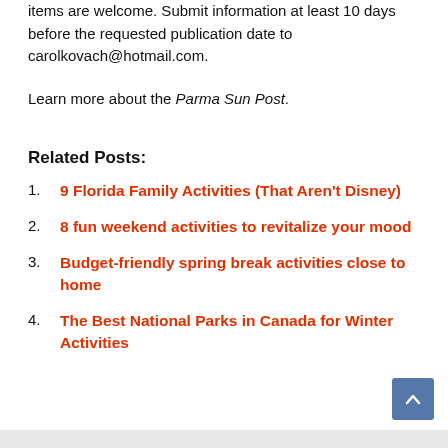items are welcome. Submit information at least 10 days before the requested publication date to carolkovach@hotmail.com.
Learn more about the Parma Sun Post.
Related Posts:
9 Florida Family Activities (That Aren't Disney)
8 fun weekend activities to revitalize your mood
Budget-friendly spring break activities close to home
The Best National Parks in Canada for Winter Activities